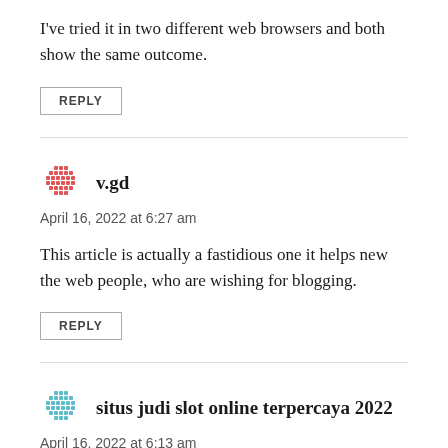I've tried it in two different web browsers and both show the same outcome.
REPLY
[Figure (illustration): Red decorative avatar icon (grid/pixel pattern) for user v.gd]
v.gd
April 16, 2022 at 6:27 am
This article is actually a fastidious one it helps new the web people, who are wishing for blogging.
REPLY
[Figure (illustration): Teal/cyan decorative avatar icon (grid/pixel pattern) for user situs judi slot online terpercaya 2022]
situs judi slot online terpercaya 2022
April 16, 2022 at 6:13 am